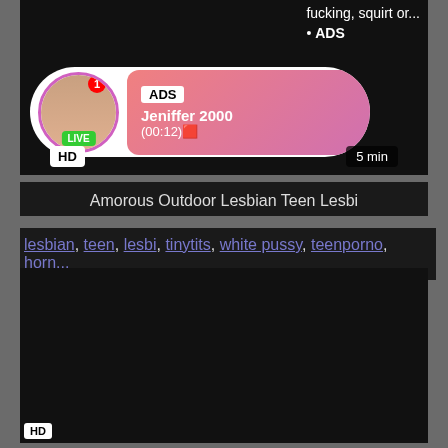[Figure (screenshot): Video thumbnail showing adult content with HD badge and 5 min duration, with an ad overlay showing 'ADS', 'Jeniffer 2000', '(00:12)' with LIVE badge]
Amorous Outdoor Lesbian Teen Lesbi
lesbian, teen, lesbi, tinytits, white pussy, teenporno, horn...
[Figure (screenshot): Second video thumbnail, dark/black content area with HD badge]